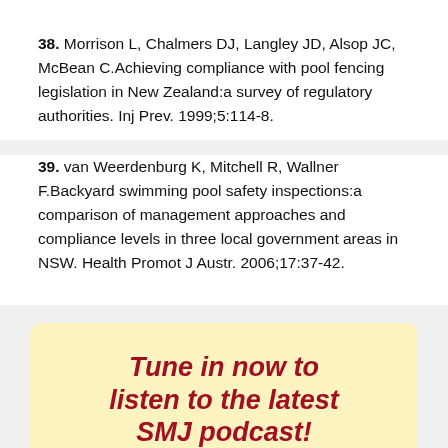38. Morrison L, Chalmers DJ, Langley JD, Alsop JC, McBean C.Achieving compliance with pool fencing legislation in New Zealand:a survey of regulatory authorities. Inj Prev. 1999;5:114-8.
39. van Weerdenburg K, Mitchell R, Wallner F.Backyard swimming pool safety inspections:a comparison of management approaches and compliance levels in three local government areas in NSW. Health Promot J Austr. 2006;17:37-42.
[Figure (illustration): Advertisement for SMJ podcast featuring text 'Tune in now to listen to the latest SMJ podcast!' in dark red bold italic font on a yellow background, with an illustration of a hand holding a microphone and a pink circular shape in the lower left.]